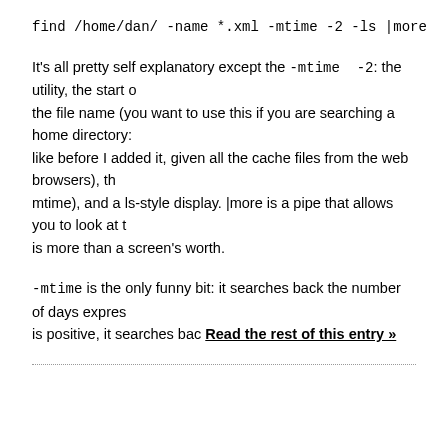find /home/dan/ -name *.xml -mtime -2 -ls |more
It's all pretty self explanatory except the -mtime -2: the utility, the start of the file name (you want to use this if you are searching a home directory: like before I added it, given all the cache files from the web browsers), the mtime), and a ls-style display. |more is a pipe that allows you to look at th is more than a screen's worth.
-mtime is the only funny bit: it searches back the number of days expres is positive, it searches bac Read the rest of this entry »